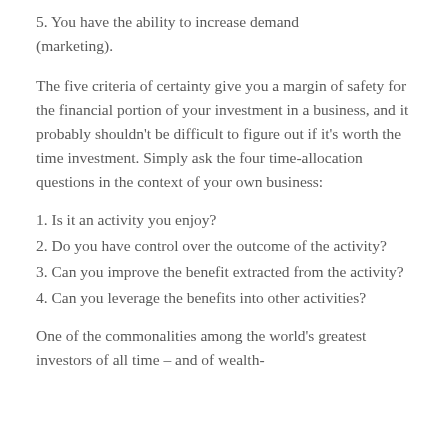5. You have the ability to increase demand (marketing).
The five criteria of certainty give you a margin of safety for the financial portion of your investment in a business, and it probably shouldn't be difficult to figure out if it's worth the time investment. Simply ask the four time-allocation questions in the context of your own business:
1. Is it an activity you enjoy?
2. Do you have control over the outcome of the activity?
3. Can you improve the benefit extracted from the activity?
4. Can you leverage the benefits into other activities?
One of the commonalities among the world's greatest investors of all time – and of wealth-